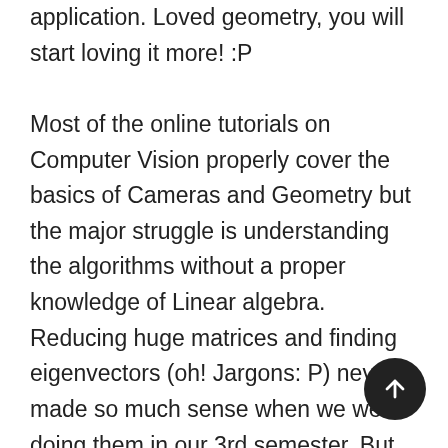application. Loved geometry, you will start loving it more! :P

Most of the online tutorials on Computer Vision properly cover the basics of Cameras and Geometry but the major struggle is understanding the algorithms without a proper knowledge of Linear algebra. Reducing huge matrices and finding eigenvectors (oh! Jargons: P) never made so much sense when we were doing them in our 3rd semester. But as they say, everything happens for good :P. You will realise that it is indeed true and it worth spending time on basics of linear